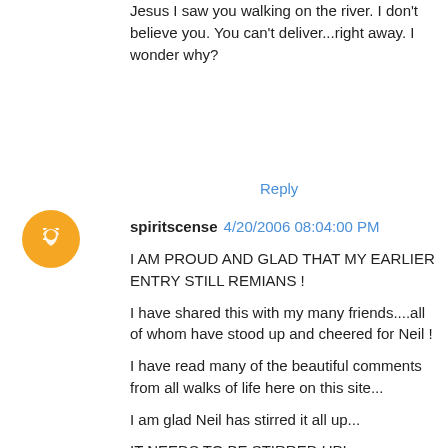Jesus I saw you walking on the river. I don't believe you. You can't deliver...right away. I wonder why?
Reply
spiritscense 4/20/2006 08:04:00 PM
I AM PROUD AND GLAD THAT MY EARLIER ENTRY STILL REMIANS !

I have shared this with my many friends....all of whom have stood up and cheered for Neil !

I have read many of the beautiful comments from all walks of life here on this site...

I am glad Neil has stirred it all up...

IT NEEDS TO BE STIRRED UP!

I defend the "tree huggers", "hippees" et al....

They are the gentle, the people who genuinely care about